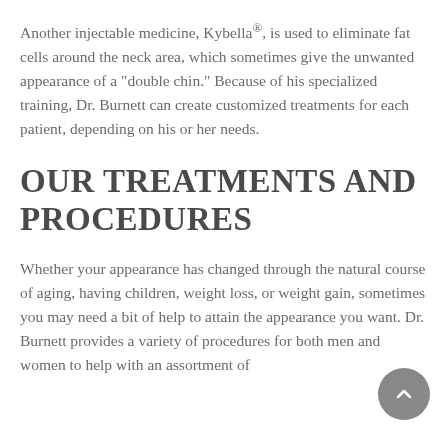Another injectable medicine, Kybella®, is used to eliminate fat cells around the neck area, which sometimes give the unwanted appearance of a "double chin." Because of his specialized training, Dr. Burnett can create customized treatments for each patient, depending on his or her needs.
OUR TREATMENTS AND PROCEDURES
Whether your appearance has changed through the natural course of aging, having children, weight loss, or weight gain, sometimes you may need a bit of help to attain the appearance you want. Dr. Burnett provides a variety of procedures for both men and women to help with an assortment of